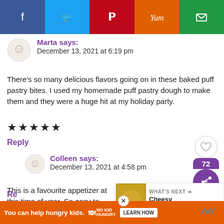[Figure (other): Social share bar with Facebook (blue), Twitter (light blue), Pinterest (red), Yummly (orange), Email (green) buttons]
Marta says:
December 13, 2021 at 6:19 pm
There's so many delicious flavors going on in these baked puff pastry bites. I used my homemade puff pastry dough to make them and they were a huge hit at my holiday party.
★★★★★
Reply
Colleen says:
December 13, 2021 at 4:58 pm
This is a favourite appetizer at this time of year. So easy to make, too. They always disappear fast!
★★★★★
Re
[Figure (other): What's Next promotional box: Cheesy Asparagus ...]
[Figure (other): Ad bar: You can help hungry kids. No Kid Hungry. LEARN HOW]